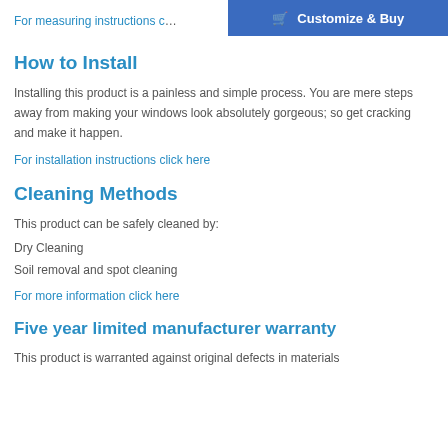Customize & Buy
For measuring instructions c...
How to Install
Installing this product is a painless and simple process. You are mere steps away from making your windows look absolutely gorgeous; so get cracking and make it happen.
For installation instructions click here
Cleaning Methods
This product can be safely cleaned by:
Dry Cleaning
Soil removal and spot cleaning
For more information click here
Five year limited manufacturer warranty
This product is warranted against original defects in materials